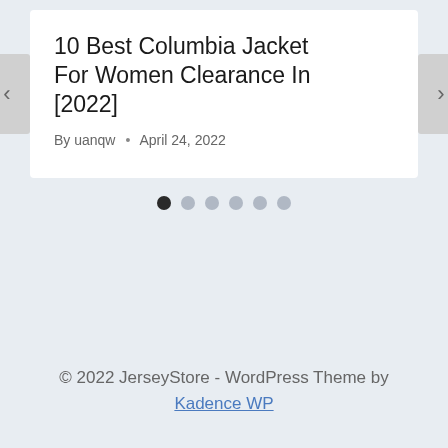10 Best Columbia Jacket For Women Clearance In [2022]
By uanqw • April 24, 2022
[Figure (other): Carousel navigation dots: 6 dots, first one filled/active (dark), rest are light grey]
© 2022 JerseyStore - WordPress Theme by Kadence WP